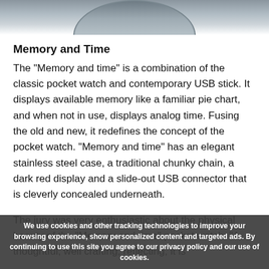[Figure (photo): Partial top view of a circular pocket watch or similar round device, showing the curved top edge with a dark metallic rim against a white background.]
Memory and Time
The "Memory and time" is a combination of the classic pocket watch and contemporary USB stick. It displays available memory like a familiar pie chart, and when not in use, displays analog time. Fusing the old and new, it redefines the concept of the pocket watch. "Memory and time" has an elegant stainless steel case, a traditional chunky chain, a dark red display and a slide-out USB connector that is cleverly concealed underneath.
The jury was very enthusiastic about the physical beauty of the "Memory and time" pocket watch: "A thoughtful, well crafted, reflecting, it is
We use cookies and other tracking technologies to improve your browsing experience, show personalized content and targeted ads. By continuing to use this site you agree to our privacy policy and our use of cookies.